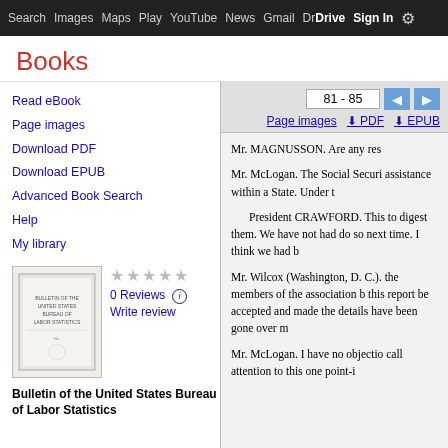Search  Images  Maps  Play  YouTube  News  Gmail  Drive  More  Sign In
Books
Read eBook
Page images
Download PDF
Download EPUB
Advanced Book Search
Help
My library
0 Reviews
Write review
Bulletin of the United States Bureau of Labor Statistics
81 - 85
Page images  PDF  EPUB
Mr. MAGNUSSON. Are any res
Mr. McLogan. The Social Securi assistance within a State. Under t
President CRAWFORD. This to digest them. We have not had do so next time. I think we had b
Mr. Wilcox (Washington, D. C.). the members of the association b this report be accepted and made the details have been gone over m
Mr. McLogan. I have no objectio call attention to this one point-i